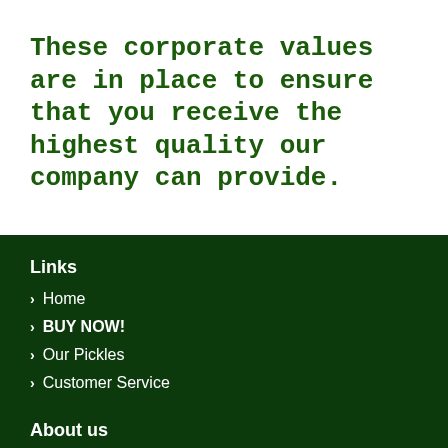These corporate values are in place to ensure that you receive the highest quality our company can provide.
Links
Home
BUY NOW!
Our Pickles
Customer Service
About us
Return Policy
Shipping Policy
FAQ
Legal and Privacy